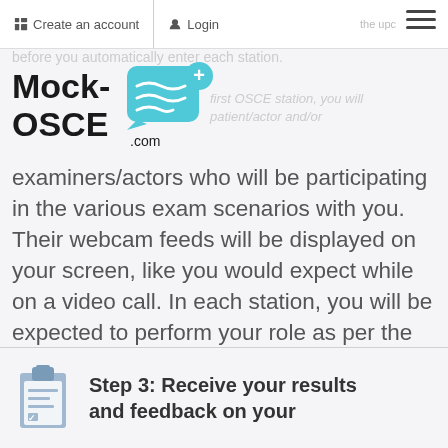Create an account | Login | …the upcoming stations before you automatically enter each station.
[Figure (logo): Mock-OSCE.com logo with chat bubble icon and teal cross]
…first OSCE station, you will…patient/actor and/or examiners/actors who will be participating in the various exam scenarios with you. Their webcam feeds will be displayed on your screen, like you would expect while on a video call. In each station, you will be expected to perform your role as per the station instructions. Each station will be timed and you will move through each station automatically, encountering new OSCE scenarios, until the administrator ends the exam at the end.
Step 3: Receive your results and feedback on your